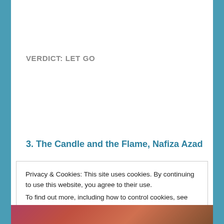VERDICT: LET GO
3. The Candle and the Flame, Nafiza Azad
Privacy & Cookies: This site uses cookies. By continuing to use this website, you agree to their use.
To find out more, including how to control cookies, see here: Cookie Policy
[Figure (photo): Bottom strip showing a partial photo, appears to be a person in colorful attire]